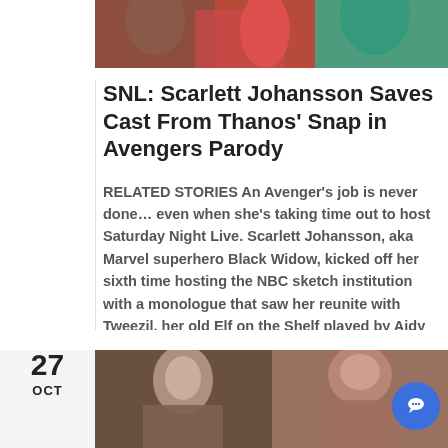[Figure (photo): Top portion of a photo showing people, including someone in a red outfit and someone in a teal/green outfit]
SNL: Scarlett Johansson Saves Cast From Thanos' Snap in Avengers Parody
RELATED STORIES An Avenger's job is never done... even when she's taking time out to host Saturday Night Live. Scarlett Johansson, aka Marvel superhero Black Widow, kicked off her sixth time hosting the NBC sketch institution with a monologue that saw her reunite with Tweezil, her old Elf on the Shelf played by Aidy Bryant. [...]
[Figure (photo): Bottom left photo showing a person with dark hair looking serious]
[Figure (photo): Bottom right photo showing a person with reddish hair in an updo]
27
OCT